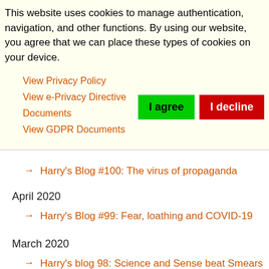This website uses cookies to manage authentication, navigation, and other functions. By using our website, you agree that we can place these types of cookies on your device.
View Privacy Policy
View e-Privacy Directive Documents
View GDPR Documents
→ Harry's Blog #100: The virus of propaganda
April 2020
→ Harry's Blog #99: Fear, loathing and COVID-19
March 2020
→ Harry's blog 98: Science and Sense beat Smears and Propaganda 5-0